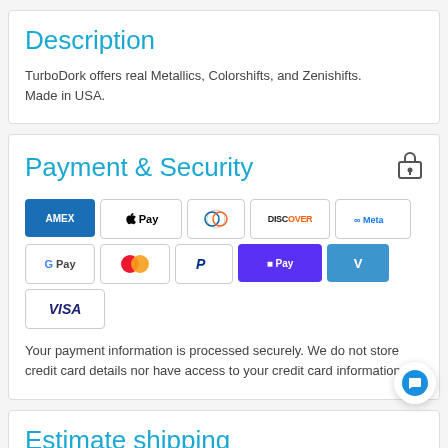Description
TurboDork offers real Metallics, Colorshifts, and Zenishifts. Made in USA.
Payment & Security
[Figure (other): Payment method logos: American Express, Apple Pay, Diners Club, Discover, Meta Pay, Google Pay, Mastercard, PayPal, Shop Pay, Venmo, Visa]
Your payment information is processed securely. We do not store credit card details nor have access to your credit card information.
Estimate shipping